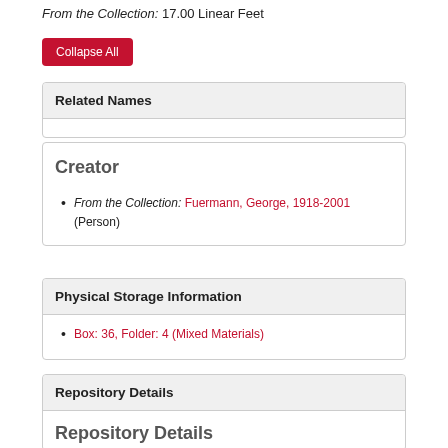From the Collection: 17.00 Linear Feet
Collapse All
Related Names
Creator
From the Collection: Fuermann, George, 1918-2001 (Person)
Physical Storage Information
Box: 36, Folder: 4 (Mixed Materials)
Repository Details
Repository Details